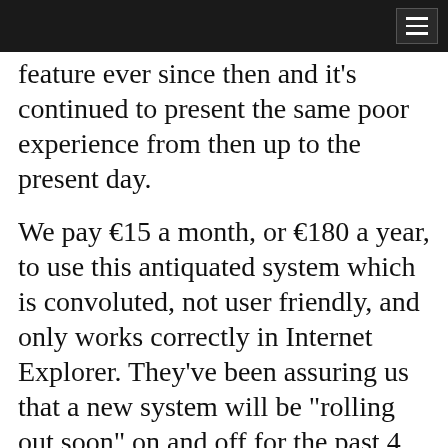feature ever since then and it's continued to present the same poor experience from then up to the present day.
We pay €15 a month, or €180 a year, to use this antiquated system which is convoluted, not user friendly, and only works correctly in Internet Explorer. They've been assuring us that a new system will be “rolling out soon” on and off for the past 4 years.